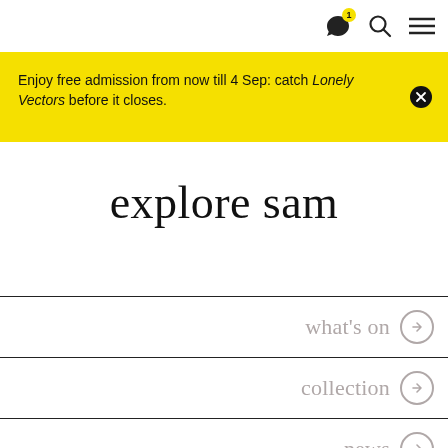Navigation bar with chat, search, and menu icons
Enjoy free admission from now till 4 Sep: catch Lonely Vectors before it closes.
explore sam
what's on →
collection →
news →